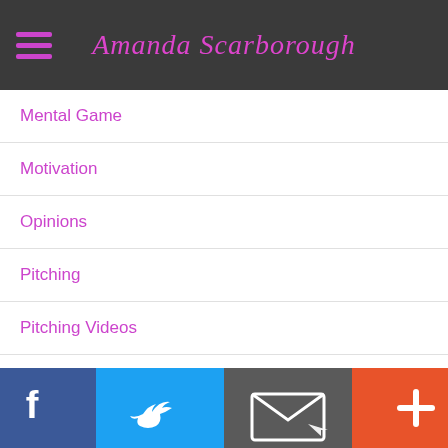Amanda Scarborough
Mental Game
Motivation
Opinions
Pitching
Pitching Videos
Preparation
Questions
Recruiting
[Figure (other): Social media share bar with Facebook, Twitter, Email, and Plus buttons at the bottom of the page]